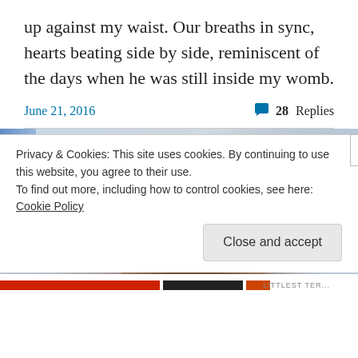up against my waist. Our breaths in sync, hearts beating side by side, reminiscent of the days when he was still inside my womb.
June 21, 2016   💬 28 Replies
[Figure (photo): Photo showing the back of a person's head with dark hair, with a blue flag/banner visible in the top left corner and blurred light background]
Privacy & Cookies: This site uses cookies. By continuing to use this website, you agree to their use.
To find out more, including how to control cookies, see here: Cookie Policy
Close and accept